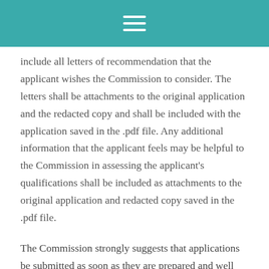[Figure (other): Teal/turquoise header bar with hamburger menu icon (three horizontal white lines)]
include all letters of recommendation that the applicant wishes the Commission to consider. The letters shall be attachments to the original application and the redacted copy and shall be included with the application saved in the .pdf file. Any additional information that the applicant feels may be helpful to the Commission in assessing the applicant's qualifications shall be included as attachments to the original application and redacted copy saved in the .pdf file.
The Commission strongly suggests that applications be submitted as soon as they are prepared and well before the deadline. Applicants granted an interview will be scheduled in the order in which applications are received.
After the deadline for submitting applications, the Commission will determine which applicants will be interviewed. At this time, it is anticipated that interviews will be conducted in person on October 26, 2021, although this date is subject to change. The Commission will consider accommodating applicants who request to be interviewed